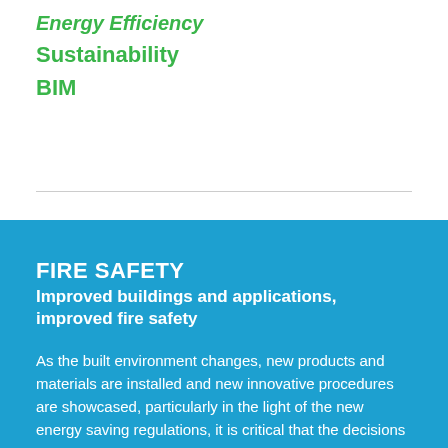Energy Efficiency
Sustainability
BIM
FIRE SAFETY
Improved buildings and applications, improved fire safety
As the built environment changes, new products and materials are installed and new innovative procedures are showcased, particularly in the light of the new energy saving regulations, it is critical that the decisions taken to improve a building and its occupants' safety are not compromised.